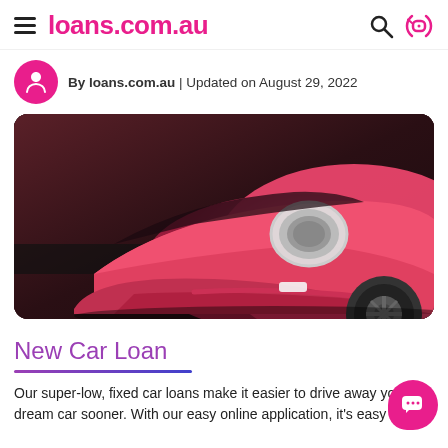loans.com.au
By loans.com.au | Updated on August 29, 2022
[Figure (photo): Close-up front side view of a pink/hot-pink Volkswagen Beetle car against a dark concrete wall background.]
New Car Loan
Our super-low, fixed car loans make it easier to drive away your dream car sooner. With our easy online application, it's easy